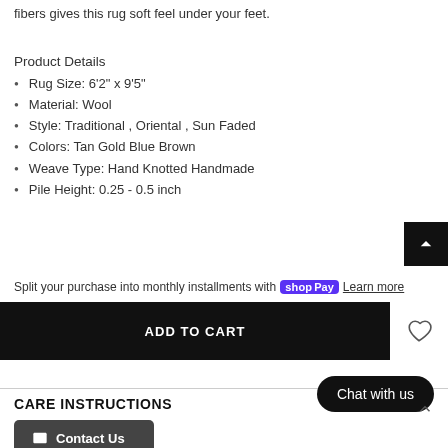fibers gives this rug soft feel under your feet.
Product Details
Rug Size: 6'2" x 9'5"
Material: Wool
Style: Traditional , Oriental , Sun Faded
Colors: Tan Gold Blue Brown
Weave Type: Hand Knotted Handmade
Pile Height: 0.25 - 0.5 inch
Split your purchase into monthly installments with Shop Pay Learn more
ADD TO CART
CARE INSTRUCTIONS
Chat with us
Contact Us